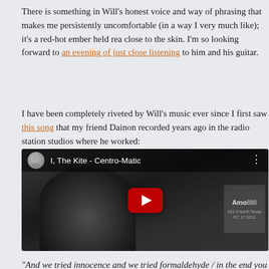There is something in Will's honest voice and way of phrasing that makes me persistently uncomfortable (in a way I very much like); it's a red-hot ember held real close to the skin. I'm so looking forward to an evening of just close listening to him and his guitar.
I have been completely riveted by Will's music ever since I first saw this song that my friend Dainon recorded years ago in the radio station studios where he worked:
[Figure (screenshot): YouTube video thumbnail for 'I, The Kite - Centro-Matic', showing a black-and-white still of a man playing guitar in a radio studio, with a red YouTube play button in the center and the video title in the top bar.]
“And we tried innocence and we tried formaldehyde / in the end you were left with a string and I, the kite” — ooof. That’s still one of the most powerful songs I’ve